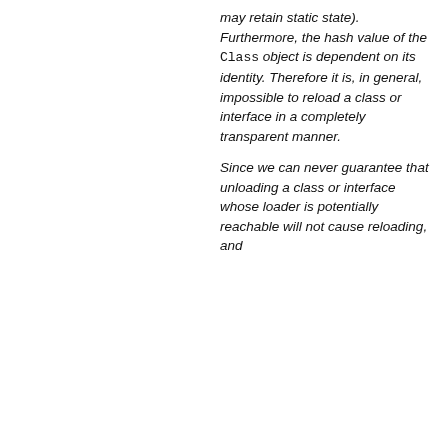may retain static state). Furthermore, the hash value of the Class object is dependent on its identity. Therefore it is, in general, impossible to reload a class or interface in a completely transparent manner.
Since we can never guarantee that unloading a class or interface whose loader is potentially reachable will not cause reloading, and